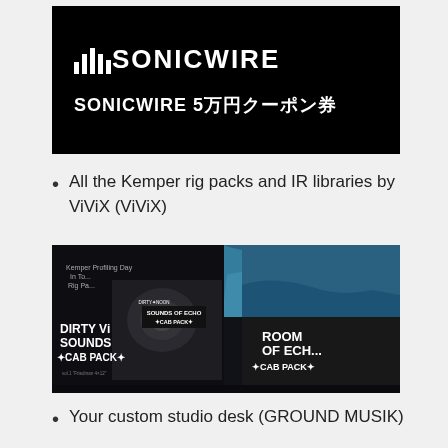[Figure (logo): SONICWIRE logo and coupon banner on black background. Shows bar chart icon followed by 'SONICWIRE' text in white, and below 'SONICWIRE 5万円クーポン券' subtitle in white on black background.]
All the Kemper rig packs and IR libraries by ViViX (ViViX)
[Figure (photo): Collage of multiple dark-themed album/product covers showing 'DIRTY V SOUNDS CAB PACK', 'SOUNDS OF ECHO CAB PACK', 'ROOM OF ECHO CAB PACK', and 'Kemper Profiling Day In Tokyo Rig Pack' products against dark backgrounds with some ocean wave imagery.]
Your custom studio desk (GROUND MUSIK)